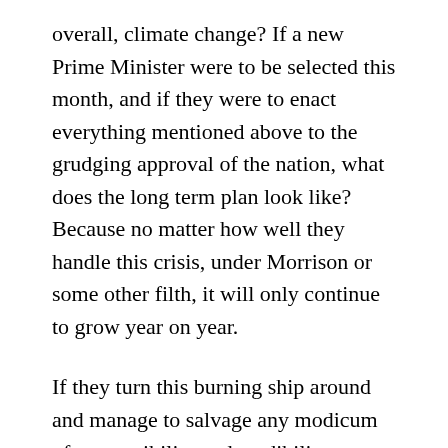overall, climate change? If a new Prime Minister were to be selected this month, and if they were to enact everything mentioned above to the grudging approval of the nation, what does the long term plan look like? Because no matter how well they handle this crisis, under Morrison or some other filth, it will only continue to grow year on year.
If they turn this burning ship around and manage to salvage any modicum of responsibility and credibility, you can bet that will be used in future election campaigns. Climate change will be a hot topic issue as always, and the Coalition gets to gloat about how they acted in the fires of 2019-2020. And people will listen, because that is just how our media and national psyche